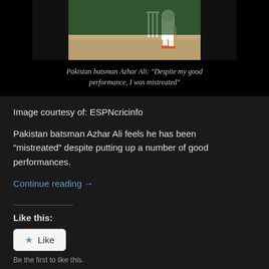[Figure (photo): Cricket batsman in white uniform standing at the wickets on a cricket pitch]
Pakistan batsman Azhar Ali: “Despite my good performance, I was mistreated”
Image courtesy of: ESPNcricinfo
Pakistan batsman Azhar Ali feels he has been “mistreated” despite putting up a number of good performances.
Continue reading →
Like this:
Like
Be the first to like this.